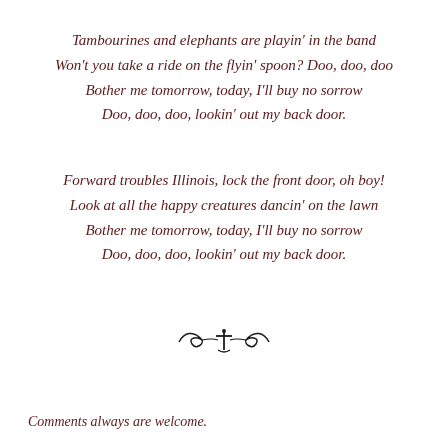Tambourines and elephants are playin' in the band
Won't you take a ride on the flyin' spoon? Doo, doo, doo
Bother me tomorrow, today, I'll buy no sorrow
Doo, doo, doo, lookin' out my back door.
Forward troubles Illinois, lock the front door, oh boy!
Look at all the happy creatures dancin' on the lawn
Bother me tomorrow, today, I'll buy no sorrow
Doo, doo, doo, lookin' out my back door.
[Figure (illustration): Decorative divider ornament: two curled flourishes flanking a cross/anchor symbol]
Comments always are welcome.